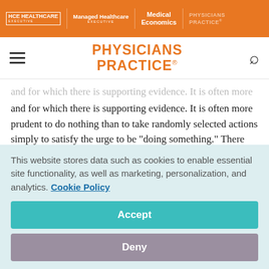HCE HEALTHCARE EXECUTIVE | Managed Healthcare EXECUTIVE | Medical Economics | PHYSICIANS PRACTICE
PHYSICIANS PRACTICE
and for which there is supporting evidence. It is often more prudent to do nothing than to take randomly selected actions simply to satisfy the urge to be "doing something." There are times, of course, where an unknown condition needs to be approached as a small clinical research problem but these situations call for careful and detailed documentation of both
This website stores data such as cookies to enable essential site functionality, as well as marketing, personalization, and analytics. Cookie Policy
Accept
Deny